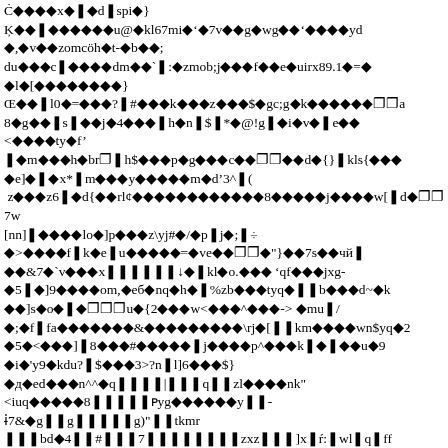Ċ����x��d spi�}
Ķ���������u@�kl67mi�'�7v��g�wg��'����yd
�,�v��zomcöh�t-�b��;
du���c������dm��`□:�zmob;j���f��e�uirx89.1�=�
�l�[�������}
Œ���l0�=���?□#���k���z���$�gc;g�k������□□a
8�g���□s□��j�4���□h�n□$□*�@!g□�i�v�□e���
<����ty�f'
□�m���h�br□□h$���p�g���c���□□��d�{}□kls{����
�e]�□�x*□m���y�����m�d'3^□(
 z���z6□�d{��rl¢�����������8�����j����w[□d�□□7w
[nn]□����lo�]p���z\yj#�/�p□j�;□÷
�>����f□k�e□u������=�ve���□□�"}���7s���чй□
���&7□`v���x□□□□□□↓□□kl�o.��� 'qf���jxg-
�5□□]9����om,�eб□nq�h�□%zb���tyq�□□b���d~�k
���]s□o□□□□□□u□{2���w<���^���-> □mu□/
�;□f□fa�������&���������\rj□[□□km����wn$yq□2
□5□<���]□8���#�����□j����p^���k□□□□u□9
□i□'y9□kdu?□$���3>?n□l]6���$}
□д□ed���n^^□q□□□□|□□□q□□zl����nk"
<iuq������8□□□□□ᴘyg������y□□-
ɨ7&□g□□g□□□□□g)"□□tkmr
□□□bd□4□□#□□□7□□□□□□zxz□□□]x□ŕ:□wl□q□ff
□□□□□□□uq□□d□1&□□yer□□q□□□□□